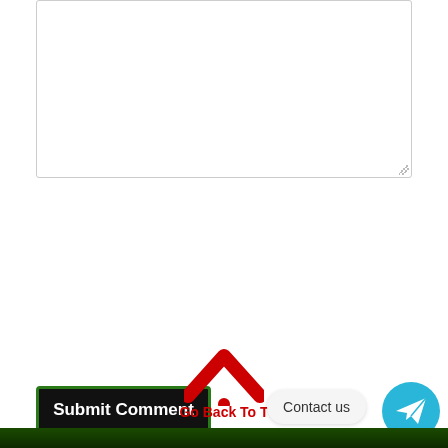[Figure (screenshot): Empty textarea input box with resize handle in bottom right corner]
Submit Comment
NOTE:- Make your comment a bit long to get it approved.
[Figure (illustration): Red upward chevron/caret icon with a red dot below it, representing a back-to-top button]
Go Back To T
Contact us
[Figure (illustration): Telegram circular button icon in teal/cyan color]